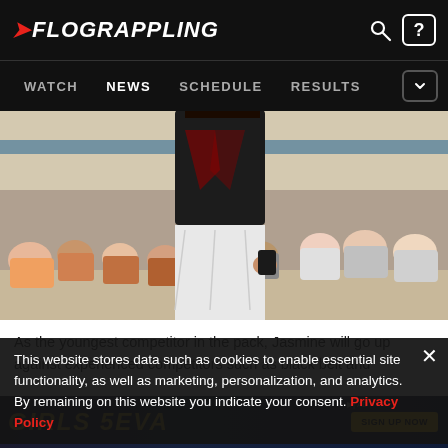FLOGRAPPLING | WATCH | NEWS | SCHEDULE | RESULTS
[Figure (photo): A grappling competitor in a dark rashguard standing on a mat with a crowd of spectators seated in the background in a gymnasium]
As the youngest competitor in the pack, Jasmine will go up against experienced competitors such as black belt and
This website stores data such as cookies to enable essential site functionality, as well as marketing, personalization, and analytics. By remaining on this website you indicate your consent.
Privacy Policy